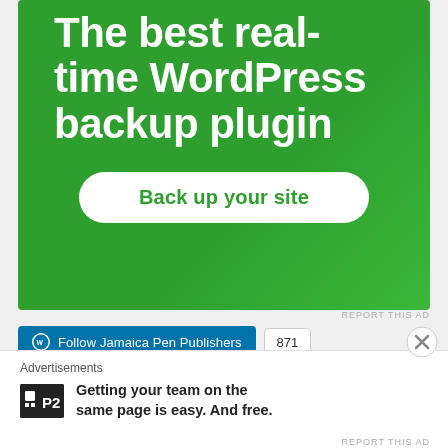[Figure (screenshot): Green advertisement banner for a WordPress backup plugin. Large white text reads 'The best real-time WordPress backup plugin' with a white rounded button labeled 'Back up your site'.]
REPORT THIS AD
Follow Jamaica Pen Publishers  871
- SEARCH JAMAICA PEN PUBLISHERS -
Advertisements
[Figure (logo): P2 logo — black square with white P2 text and small grid icon]
Getting your team on the same page is easy. And free.
REPORT THIS AD